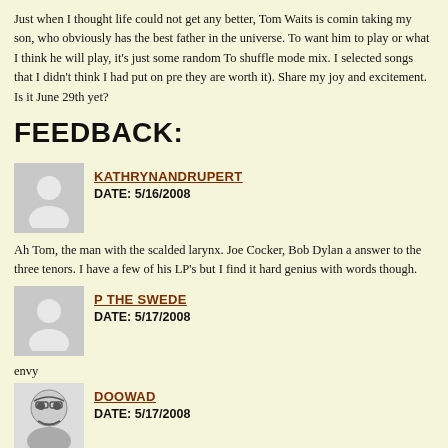Just when I thought life could not get any better, Tom Waits is coming, taking my son, who obviously has the best father in the universe. To want him to play or what I think he will play, it's just some random To shuffle mode mix. I selected songs that I didn't think I had put on pre they are worth it). Share my joy and excitement. Is it June 29th yet?
FEEDBACK:
KATHRYNANDRUPERT
DATE: 5/16/2008
Ah Tom, the man with the scalded larynx. Joe Cocker, Bob Dylan a answer to the three tenors. I have a few of his LP's but I find it hard genius with words though.
P THE SWEDE
DATE: 5/17/2008
envy
DOOWAD
DATE: 5/17/2008
That's cool, Funky, Strange Loop, Wad and I are going to see him h know how the tour is. My backup to the Wad is doowadette, so we'll the universe when I took her to see Bob & Willie and we were up bw